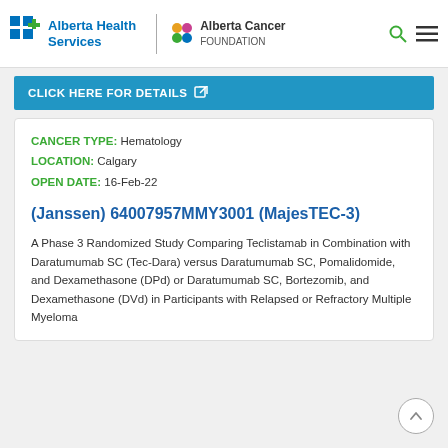[Figure (logo): Alberta Health Services and Alberta Cancer Foundation logos with search and menu icons]
CLICK HERE FOR DETAILS
CANCER TYPE: Hematology
LOCATION: Calgary
OPEN DATE: 16-Feb-22
(Janssen) 64007957MMY3001 (MajesTEC-3)
A Phase 3 Randomized Study Comparing Teclistamab in Combination with Daratumumab SC (Tec-Dara) versus Daratumumab SC, Pomalidomide, and Dexamethasone (DPd) or Daratumumab SC, Bortezomib, and Dexamethasone (DVd) in Participants with Relapsed or Refractory Multiple Myeloma